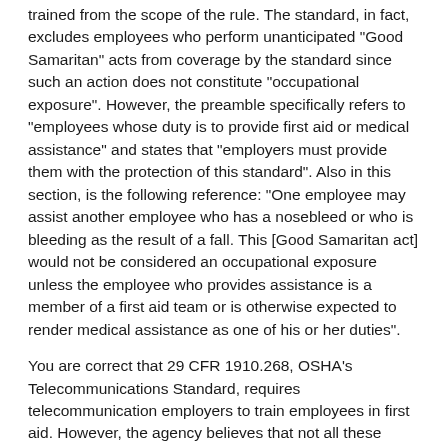trained from the scope of the rule. The standard, in fact, excludes employees who perform unanticipated "Good Samaritan" acts from coverage by the standard since such an action does not constitute "occupational exposure". However, the preamble specifically refers to "employees whose duty is to provide first aid or medical assistance" and states that "employers must provide them with the protection of this standard". Also in this section, is the following reference: "One employee may assist another employee who has a nosebleed or who is bleeding as the result of a fall. This [Good Samaritan act] would not be considered an occupational exposure unless the employee who provides assistance is a member of a first aid team or is otherwise expected to render medical assistance as one of his or her duties".
You are correct that 29 CFR 1910.268, OSHA's Telecommunications Standard, requires telecommunication employers to train employees in first aid. However, the agency believes that not all these employees would necessarily be designated to render medical assistance. The designation of specific individuals as responsible for rendering medical assistance is the employer's decision. For example, a stable six-person crew could have two of the six employees designated to render medical assistance and also to be covered by the requirements of 29 CFR 1910.1030.